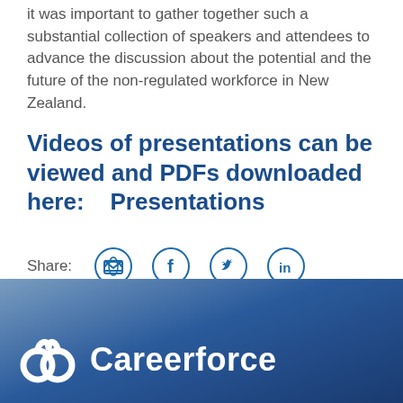it was important to gather together such a substantial collection of speakers and attendees to advance the discussion about the potential and the future of the non-regulated workforce in New Zealand.
Videos of presentations can be viewed and PDFs downloaded here:    Presentations
Updated 12 June 2014
[Figure (infographic): Share icons row: Share label followed by email, Facebook, Twitter, and LinkedIn circular icons in blue outline style]
[Figure (logo): Careerforce logo with white swirl emblem and white Careerforce text on blue gradient background]